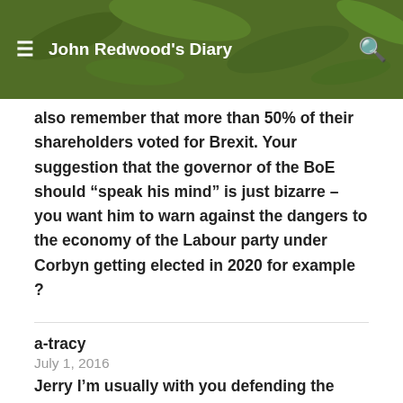John Redwood's Diary
also remember that more than 50% of their shareholders voted for Brexit. Your suggestion that the governor of the BoE should “speak his mind” is just bizarre – you want him to warn against the dangers to the economy of the Labour party under Corbyn getting elected in 2020 for example ?
a-tracy
July 1, 2016
Jerry I’m usually with you defending the BBC but their behaviour has been poor and unbalanced. Bad news articles left up for five days and more and good news articles only getting a brief if any mention and then taken down after an hour. Makes you wonder why? I must start to write down all